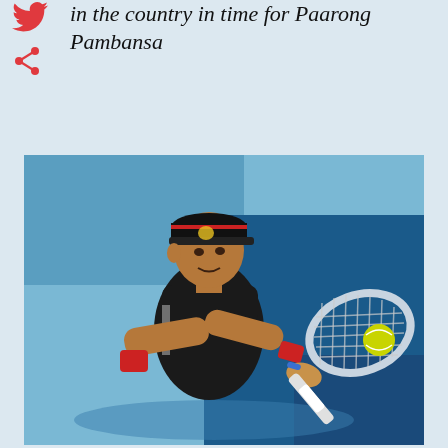in the country in time for Paarong Pambansa
[Figure (photo): Tennis player wearing a black sleeveless shirt and black cap with red wristbands, hitting a backhand shot on a blue court. A yellow tennis ball is visible near the racket.]